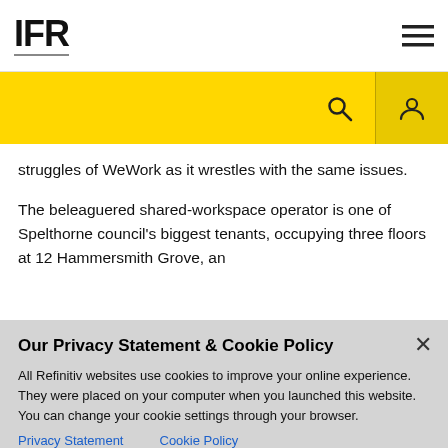IFR
struggles of WeWork as it wrestles with the same issues.
The beleaguered shared-workspace operator is one of Spelthorne council's biggest tenants, occupying three floors at 12 Hammersmith Grove, an
Our Privacy Statement & Cookie Policy
All Refinitiv websites use cookies to improve your online experience. They were placed on your computer when you launched this website. You can change your cookie settings through your browser.
Privacy Statement   Cookie Policy
Ok to continue